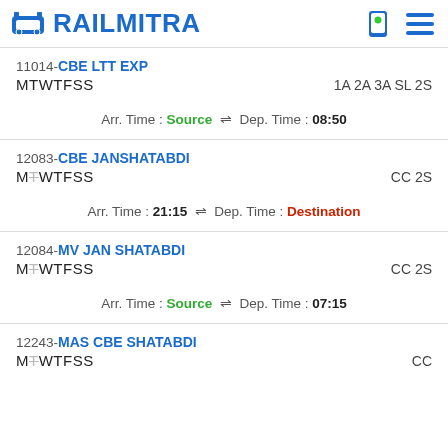RAILMITRA
11014-CBE LTT EXP
MTWTFSS	1A 2A 3A SL 2S
Arr. Time :Source ⇌ Dep. Time :08:50
12083-CBE JANSHATABDI
MTWTFSS	CC 2S
Arr. Time :21:15 ⇌ Dep. Time :Destination
12084-MV JAN SHATABDI
MTWTFSS	CC 2S
Arr. Time :Source ⇌ Dep. Time :07:15
12243-MAS CBE SHATABDI
MTWTFSS	CC